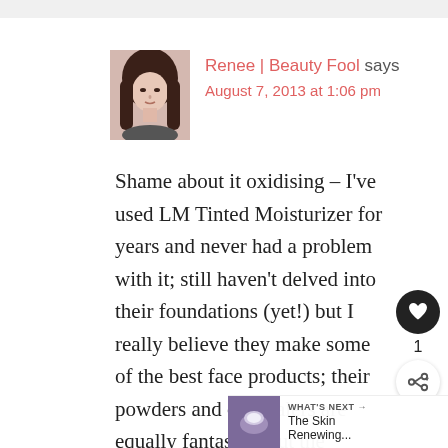[Figure (photo): Profile photo of a young woman with long dark hair]
Renee | Beauty Fool says
August 7, 2013 at 1:06 pm
Shame about it oxidising – I've used LM Tinted Moisturizer for years and never had a problem with it; still haven't delved into their foundations (yet!) but I really believe they make some of the best face products; their powders and concealers are equally fantastic. But the foundation coverage looks rea…